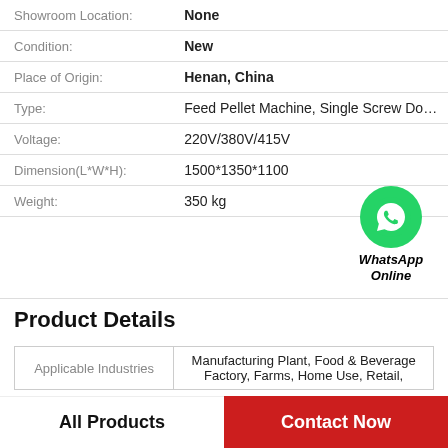| Field | Value |
| --- | --- |
| Showroom Location: | None |
| Condition: | New |
| Place of Origin: | Henan, China |
| Type: | Feed Pellet Machine, Single Screw Doub… |
| Voltage: | 220V/380V/415V |
| Dimension(L*W*H): | 1500*1350*1100 |
| Weight: | 350 kg |
[Figure (logo): WhatsApp Online button with green phone icon circle]
Product Details
| Field | Value |
| --- | --- |
| Applicable Industries | Manufacturing Plant, Food & Beverage Factory, Farms, Home Use, Retail, |
All Products
Contact Now